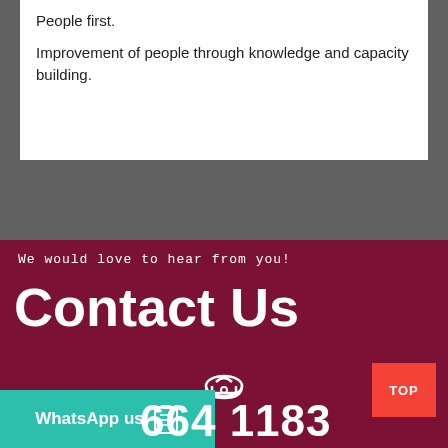People first.
Improvement of people through knowledge and capacity building.
We would love to hear from you!
Contact Us
[Figure (illustration): Phone/telephone icon in white outline style]
TOP
WhatsApp us
664 1183